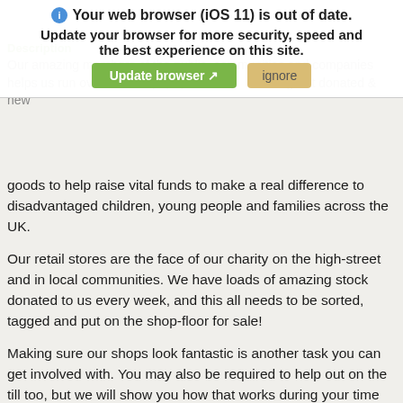Your web browser (iOS 11) is out of date. Update your browser for more security, speed and the best experience on this site. [Update browser] [ignore]
Description
Our amazing members of the public, communities and companies help us run over 700 shops, by donating great donated & new goods to help raise vital funds to make a real difference to disadvantaged children, young people and families across the UK.
Our retail stores are the face of our charity on the high-street and in local communities. We have loads of amazing stock donated to us every week, and this all needs to be sorted, tagged and put on the shop-floor for sale!
Making sure our shops look fantastic is another task you can get involved with. You may also be required to help out on the till too, but we will show you how that works during your time volunteering with us. We value the contribution of everyone who supports Barnardo’s.
You will be a friendly face of Barnardo’s by volunteering in one of our shops. It would be great if you could volunteer one shift a week (or even more if you want) but we’re always happy to be flexible to work around your availability.